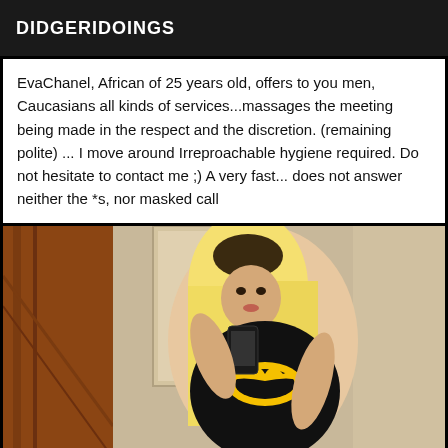DIDGERIDOINGS
EvaChanel, African of 25 years old, offers to you men, Caucasians all kinds of services...massages the meeting being made in the respect and the discretion. (remaining polite) ... I move around Irreproachable hygiene required. Do not hesitate to contact me ;) A very fast... does not answer neither the *s, nor masked call
[Figure (photo): Woman with long blonde hair wearing a black Batman swimsuit, taking a mirror selfie in a hallway]